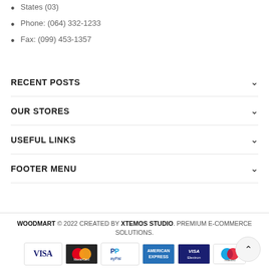States (03)
Phone: (064) 332-1233
Fax: (099) 453-1357
RECENT POSTS
OUR STORES
USEFUL LINKS
FOOTER MENU
WOODMART © 2022 CREATED BY XTEMOS STUDIO. PREMIUM E-COMMERCE SOLUTIONS.